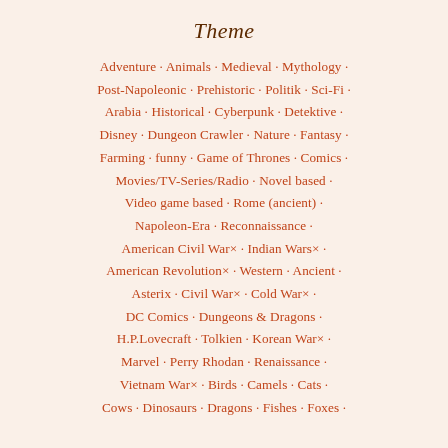Theme
Adventure · Animals · Medieval · Mythology · Post-Napoleonic · Prehistoric · Politik · Sci-Fi · Arabia · Historical · Cyberpunk · Detektive · Disney · Dungeon Crawler · Nature · Fantasy · Farming · funny · Game of Thrones · Comics · Movies/TV-Series/Radio · Novel based · Video game based · Rome (ancient) · Napoleon-Era · Reconnaissance · American Civil War× · Indian Wars× · American Revolution× · Western · Ancient · Asterix · Civil War× · Cold War× · DC Comics · Dungeons & Dragons · H.P.Lovecraft · Tolkien · Korean War× · Marvel · Perry Rhodan · Renaissance · Vietnam War× · Birds · Camels · Cats · Cows · Dinosaurs · Dragons · Fishes · Foxes ·